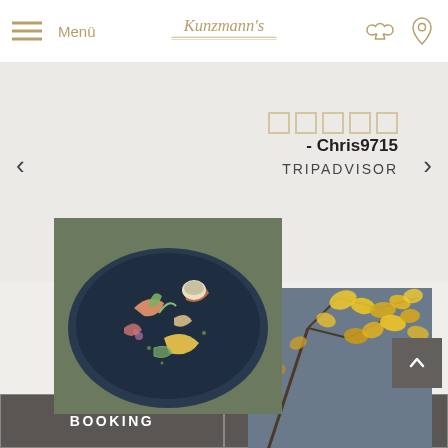Menü | Kunzmann's
this is the right place for you. I can really recommend this hotel and I would love to come back when the opportunity arises.
- Chris9715
TRIPADVISOR
[Figure (photo): Photo of an elaborate food dish on a dark blue plate with colorful garnishes]
[Figure (photo): Photo of yellow autumn leaves against a blue-grey background]
BOOKING
REQUEST